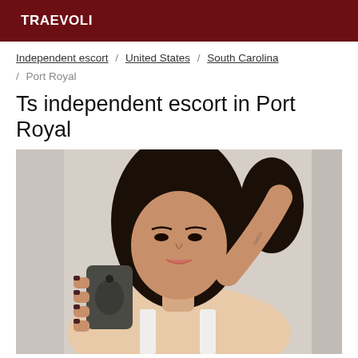TRAEVOLI
Independent escort / United States / South Carolina / Port Royal
Ts independent escort in Port Royal
[Figure (photo): A person taking a mirror selfie with a smartphone, dark hair, white top, visible tattoo on right arm.]